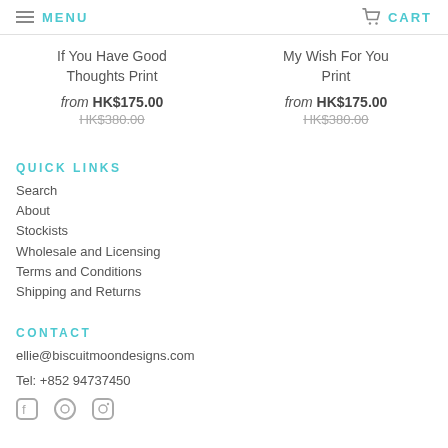MENU  CART
If You Have Good Thoughts Print
from HK$175.00
HK$380.00
My Wish For You Print
from HK$175.00
HK$380.00
QUICK LINKS
Search
About
Stockists
Wholesale and Licensing
Terms and Conditions
Shipping and Returns
CONTACT
ellie@biscuitmoondesigns.com
Tel: +852 94737450